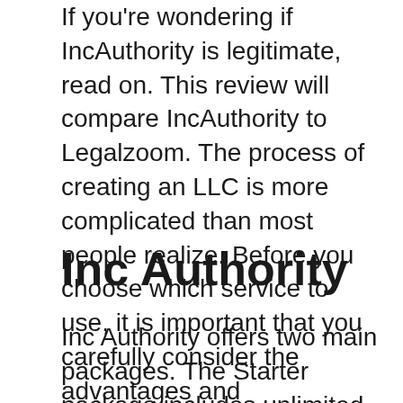If you're wondering if IncAuthority is legitimate, read on. This review will compare IncAuthority to Legalzoom. The process of creating an LLC is more complicated than most people realize. Before you choose which service to use, it is important that you carefully consider the advantages and disadvantages of each. Here are some of the benefits and drawbacks of IncAuthority. Also, see IncAuthority Vs. Legalzoom for a clear comparison of these two companies.
Inc Authority
Inc Authority offers two main packages. The Starter package includes unlimited email and phone support from an Inc Success Advisor and business credit up to... The Executive